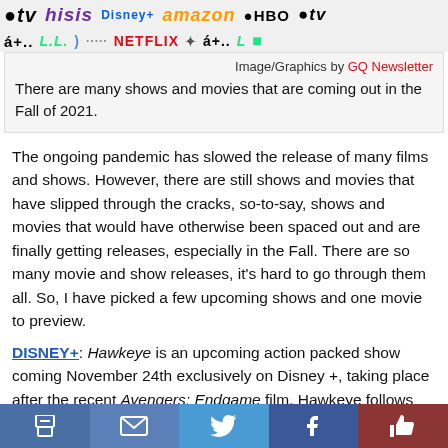[Figure (infographic): Banner with streaming service logos: TV, Hulu, Disney+, Amazon, HBO Max, Netflix, Apple TV, and more in two rows]
Image/Graphics by GQ Newsletter
There are many shows and movies that are coming out in the Fall of 2021.
The ongoing pandemic has slowed the release of many films and shows. However, there are still shows and movies that have slipped through the cracks, so-to-say, shows and movies that would have otherwise been spaced out and are finally getting releases, especially in the Fall. There are so many movie and show releases, it's hard to go through them all. So, I have picked a few upcoming shows and one movie to preview.
DISNEY+: Hawkeye is an upcoming action packed show coming November 24th exclusively on Disney +, taking place after the recent Avengers: Endgame film. Hawkeye follows Clint Barton aka Hawkeye, played by Jeremy Renner, who needs to fight enemies from his past with the help of Kate Bishop, played by Hailee Steinfeld. Hawkeye should be a great show for any Marvel fan.
Print | Email | Twitter | Facebook | Like